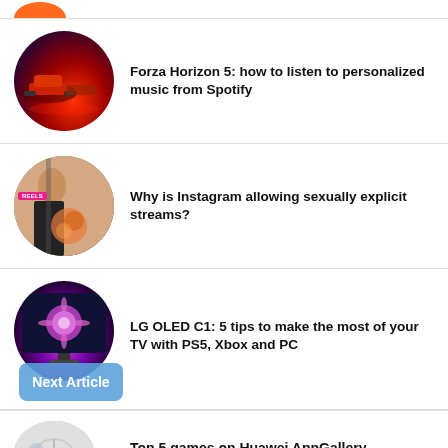[Figure (illustration): Partial orange blob/logo at top]
[Figure (photo): Circular thumbnail of Forza Horizon 5 showing cars in dramatic red/purple night scene]
Forza Horizon 5: how to listen to personalized music from Spotify
[Figure (photo): Circular thumbnail of Instagram live stream showing people, with pink badge overlay]
Why is Instagram allowing sexually explicit streams?
[Figure (photo): Circular thumbnail of LG OLED TV showing purple flower display, with Next Article button overlay]
LG OLED C1: 5 tips to make the most of your TV with PS5, Xbox and PC
[Figure (photo): Partial circular thumbnail for Huawei AppGallery article]
Top 5 games on Huawei AppGallery